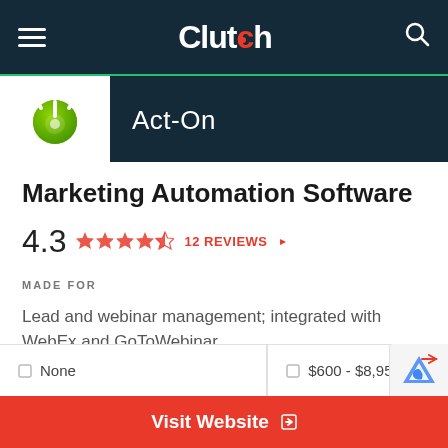Clutch
Act-On
Marketing Automation Software
4.3  12 REVIEWS
MADE FOR
Lead and webinar management; integrated with WebEx and GoToWebinar
NOT FOR
Blogging, extensive content editing or coding novices
None  $600 - $8,950/mo.
Visit Website